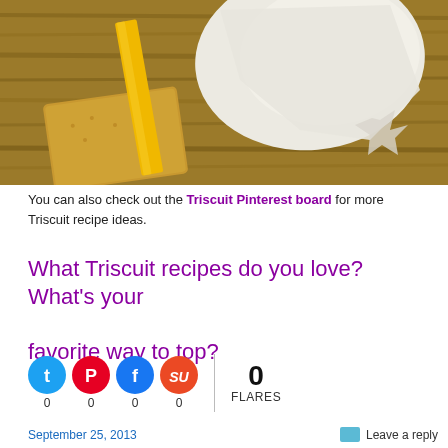[Figure (photo): Photo of a cracker topped with yellow cheddar cheese and white cheese on a wooden surface]
You can also check out the Triscuit Pinterest board for more Triscuit recipe ideas.
What Triscuit recipes do you love? What's your favorite way to top?
[Figure (infographic): Social sharing bar with Twitter, Pinterest, Facebook, and StumbleUpon icons each showing 0 counts, a divider, and 0 FLARES]
September 25, 2013   Leave a reply